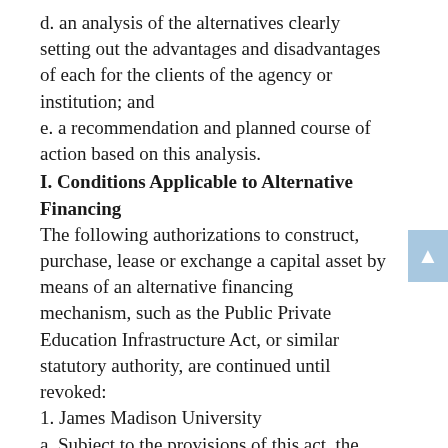d. an analysis of the alternatives clearly setting out the advantages and disadvantages of each for the clients of the agency or institution; and
e. a recommendation and planned course of action based on this analysis.
I. Conditions Applicable to Alternative Financing
The following authorizations to construct, purchase, lease or exchange a capital asset by means of an alternative financing mechanism, such as the Public Private Education Infrastructure Act, or similar statutory authority, are continued until revoked:
1. James Madison University
a. Subject to the provisions of this act, the General Assembly authorizes James Madison University, with the approval of the Governor, to explore and evaluate an alternative financing scenario to provide additional parking, student housing, and/or operational related facilities. The project shall be consistent with the guidelines of the Department of